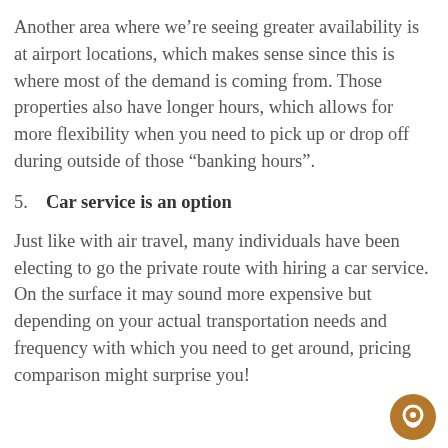Another area where we're seeing greater availability is at airport locations, which makes sense since this is where most of the demand is coming from. Those properties also have longer hours, which allows for more flexibility when you need to pick up or drop off during outside of those “banking hours”.
5. Car service is an option
Just like with air travel, many individuals have been electing to go the private route with hiring a car service. On the surface it may sound more expensive but depending on your actual transportation needs and frequency with which you need to get around, pricing comparison might surprise you!